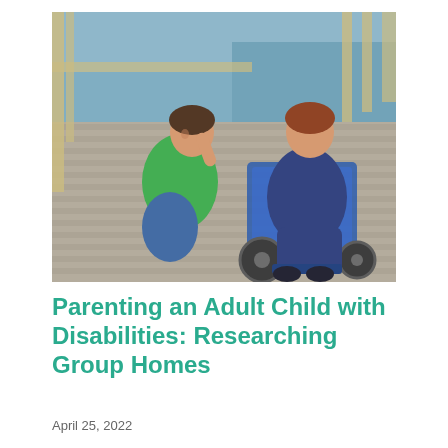[Figure (photo): A woman in a green Kermit the Frog t-shirt kneels on a wooden deck beside a young man with red hair sitting in a blue wheelchair. They are touching foreheads affectionately. Water and wooden dock railings are visible in the background.]
Parenting an Adult Child with Disabilities: Researching Group Homes
April 25, 2022